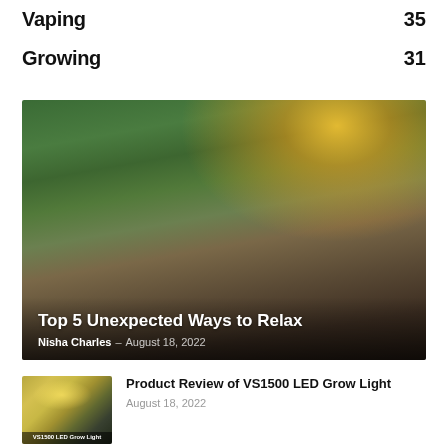Vaping 35
Growing 31
[Figure (photo): Person lying on outdoor sofa with legs raised, surrounded by tropical garden, sunlight flare in background. Overlay text: Top 5 Unexpected Ways to Relax. Nisha Charles – August 18, 2022]
Product Review of VS1500 LED Grow Light
August 18, 2022